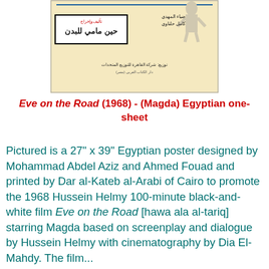[Figure (photo): Egyptian movie poster for 'Eve on the Road' (1968), printed on cream/yellow background with Arabic text, a title box with red and black Arabic lettering, and a figure illustration at the top right.]
Eve on the Road (1968) - (Magda) Egyptian one-sheet
Pictured is a 27" x 39" Egyptian poster designed by Mohammad Abdel Aziz and Ahmed Fouad and printed by Dar al-Kateb al-Arabi of Cairo to promote the 1968 Hussein Helmy 100-minute black-and-white film Eve on the Road [hawa ala al-tariq] starring Magda based on screenplay and dialogue by Hussein Helmy with cinematography by Dia El-Mahdy. The film...